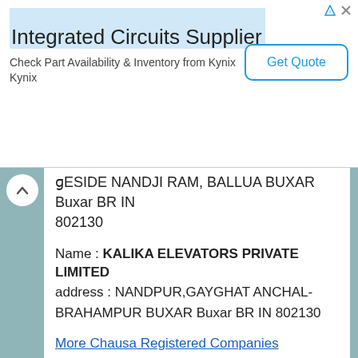[Figure (other): Advertisement banner for Integrated Circuits Supplier - Kynix, with Get Quote button]
BESIDE NANDJI RAM, BALLUA BUXAR Buxar BR IN 802130
Name : KALIKA ELEVATORS PRIVATE LIMITED
address : NANDPUR,GAYGHAT ANCHAL-BRAHAMPUR BUXAR Buxar BR IN 802130
More Chausa Registered Companies
BusStation in Chausa
Sonpa Bus Stand
SH 14; Jalilpur; Bihar 802114; India
Detail
Sikraul Bus Stop
Sikraul; Chausa; SH 14; Sikraur; Bihar 802114; India
Detail
Bara Bus Stand